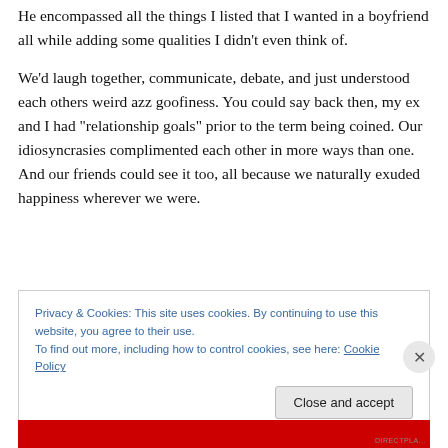He encompassed all the things I listed that I wanted in a boyfriend all while adding some qualities I didn't even think of.
We'd laugh together, communicate, debate, and just understood each others weird azz goofiness. You could say back then, my ex and I had “relationship goals” prior to the term being coined. Our idiosyncrasies complimented each other in more ways than one. And our friends could see it too, all because we naturally exuded happiness wherever we were.
Privacy & Cookies: This site uses cookies. By continuing to use this website, you agree to their use.
To find out more, including how to control cookies, see here: Cookie Policy
Close and accept